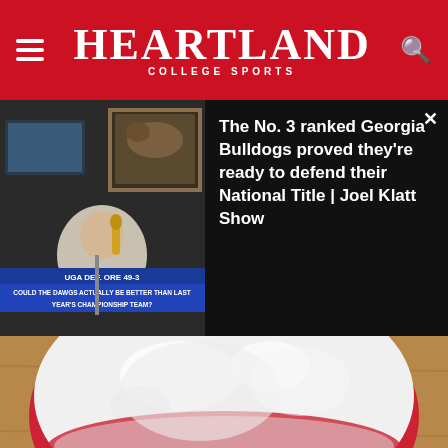Heartland College Sports
[Figure (screenshot): Video thumbnail showing a sports commentator in a studio with a buffalo painting on the wall, with on-screen text: 'UGA DEF. ORE 49-3' and 'COULD THE DAWGS ACTUALLY BE BETTER THAN LAST YEAR'S CHAMPIONSHIP TEAM?']
The No. 3 ranked Georgia Bulldogs proved they're ready to defend their National Title | Joel Klatt Show
[Figure (photo): Close-up photo of a white powder-coated ball or food item with red visible underneath, resting on a wooden surface]
1 TEASPOON ON AN EMPTY STOMACH DROPS BODY WEIGHT LIKE CRAZY!
By Trending New finds
[Figure (photo): Partial dark/black image at the bottom of the page, partially visible]